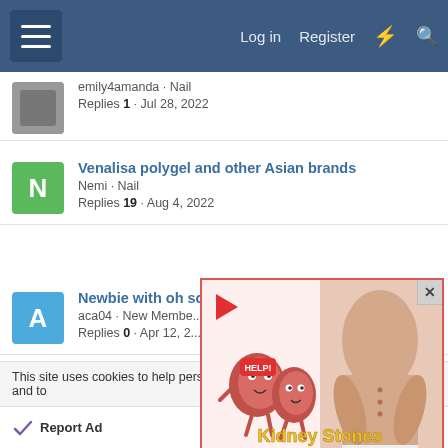Navigation bar with hamburger menu, Log in, Register, lightning icon, search icon
emily4amanda · Nail | Replies 1 · Jul 28, 2022
Venalisa polygel and other Asian brands | Nemi · Nail | Replies 19 · Aug 4, 2022
Newbie with oh so... | aca04 · New Member | Replies 0 · Apr 12, 2...
New member - ac... | Tanqueen1 · New M... | Replies 13 · Jul 9, 2022
[Figure (infographic): Ad overlay showing kidney cartoon characters with HELP! sign and a person with back pain. Text reads 'Kidney Stones symptoms' in yellow on red background. Has a close X button and a play button arrow.]
This site uses cookies to help personalise content, tailor your experience and to
Report Ad